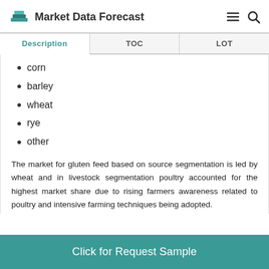Market Data Forecast
| Description | TOC | LOT |
| --- | --- | --- |
corn
barley
wheat
rye
other
The market for gluten feed based on source segmentation is led by wheat and in livestock segmentation poultry accounted for the highest market share due to rising farmers awareness related to poultry and intensive farming techniques being adopted.
Click for Request Sample